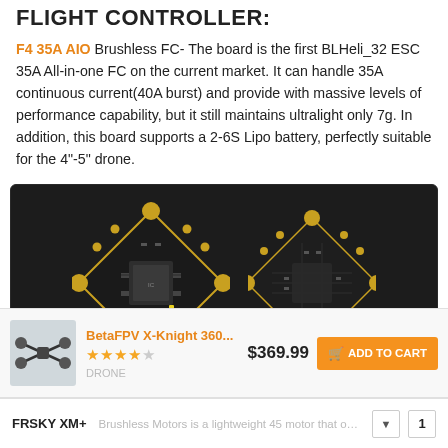FLIGHT CONTROLLER:
F4 35A AIO Brushless FC- The board is the first BLHeli_32 ESC 35A All-in-one FC on the current market. It can handle 35A continuous current(40A burst) and provide with massive levels of performance capability, but it still maintains ultralight only 7g. In addition, this board supports a 2-6S Lipo battery, perfectly suitable for the 4"-5" drone.
[Figure (photo): Two views of the F4 35A AIO Brushless Flight Controller board — square PCBs with gold pads at corners, rotated 45 degrees, showing circuit components and chips on a dark substrate.]
BetaFPV X-Knight 360...
$369.99
ADD TO CART
FRSKY XM+
Brushless Motors is a lightweight 45 motor that only weighs 10.4g-1pc. Best matched with the 4S 3016...
1